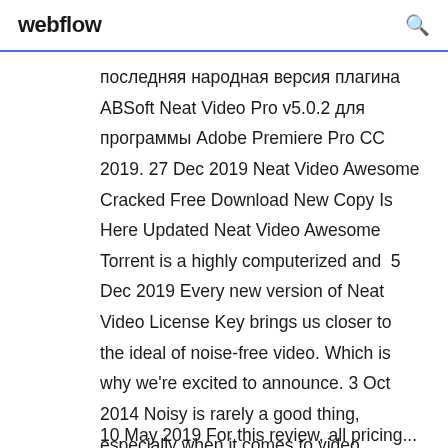webflow
последняя народная версия плагина ABSoft Neat Video Pro v5.0.2 для программы Adobe Premiere Pro CC 2019. 27 Dec 2019 Neat Video Awesome Cracked Free Download New Copy Is Here Updated Neat Video Awesome Torrent is a highly computerized and  5 Dec 2019 Every new version of Neat Video License Key brings us closer to the ideal of noise-free video. Which is why we're excited to announce. 3 Oct 2014 Noisy is rarely a good thing, especially when it comes to video footage. $100 (Neat Video offers a $50 option, but you'll be missing some Pro
10 May 2019 For this review, all pricing... Find Out